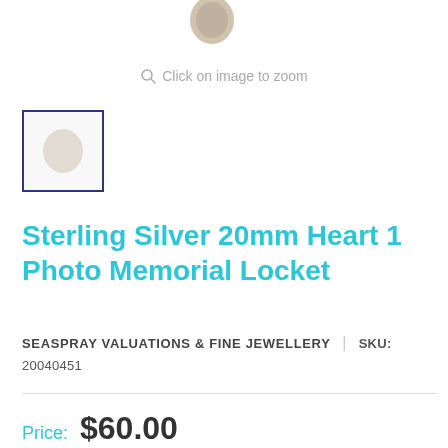[Figure (photo): Partial view of a sterling silver locket jewelry item at the very top of the page]
Click on image to zoom
[Figure (photo): Thumbnail image placeholder with dark blue border showing a small jewelry product image]
Sterling Silver 20mm Heart 1 Photo Memorial Locket
SEASPRAY VALUATIONS & FINE JEWELLERY  |  SKU: 20040451
Price:  $60.00